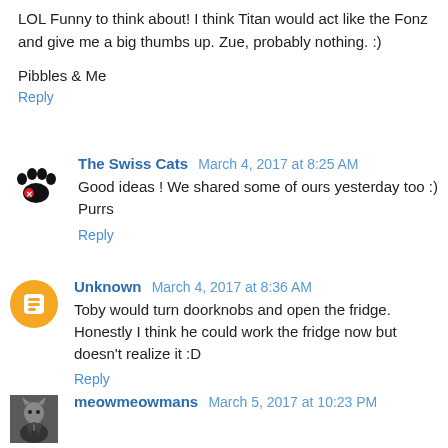LOL Funny to think about! I think Titan would act like the Fonz and give me a big thumbs up. Zue, probably nothing. :)
Pibbles & Me
Reply
The Swiss Cats  March 4, 2017 at 8:25 AM
Good ideas ! We shared some of ours yesterday too :) Purrs
Reply
Unknown  March 4, 2017 at 8:36 AM
Toby would turn doorknobs and open the fridge. Honestly I think he could work the fridge now but doesn't realize it :D
Reply
meowmeowmans  March 5, 2017 at 10:23 PM